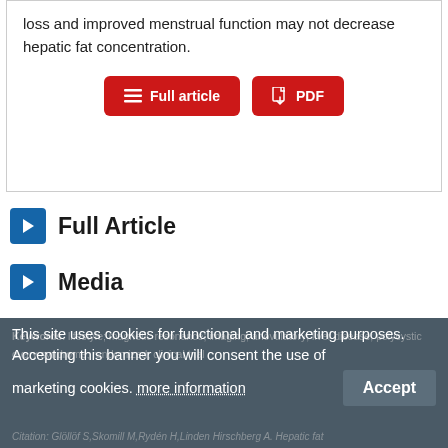loss and improved menstrual function may not decrease hepatic fat concentration.
[Figure (screenshot): Two red buttons: 'Full article' and 'PDF']
Full Article
Media
References
Keywords: lifestyle; magnetic resonance imaging; anovulatory; liver disease; polycystic ovary syndrome; randomized; clinical trial
Citation: Glöllöf S,Skomill M,Rydén H,Linden Hirschberg A. Hepatic fat...
This site uses cookies for functional and marketing purposes. Accepting this banner you will consent the use of marketing cookies. more information
Accept